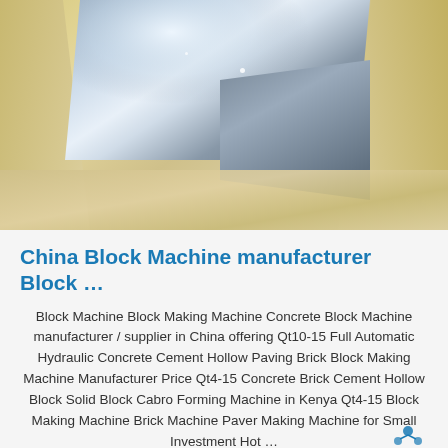[Figure (photo): Photo of shiny metallic steel blade/plate components resting on beige/cream colored packaging material or foam]
China Block Machine manufacturer Block …
Block Machine Block Making Machine Concrete Block Machine manufacturer / supplier in China offering Qt10-15 Full Automatic Hydraulic Concrete Cement Hollow Paving Brick Block Making Machine Manufacturer Price Qt4-15 Concrete Brick Cement Hollow Block Solid Block Cabro Forming Machine in Kenya Qt4-15 Block Making Machine Brick Machine Paver Making Machine for Small Investment Hot …